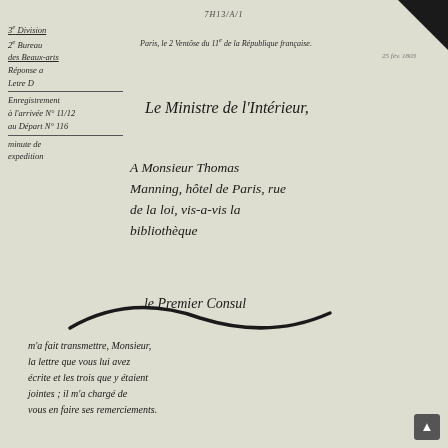7H13/A/1
3e Division
2e Bureau
des Beaux-arts
Réponse a
Letre D
Enregistrement
à l'arrivée N° 11/12
au Départ N° 116
minute de
expedition
Paris, le 2 Ventôse du 11e de la République française.
Le Ministre de l'Intérieur,
A Monsieur Thomas
Manning, hôtel de Paris, rue
de la loi, vis-a-vis la
bibliothèque
Le Premier Consul
m'a fait transmettre, Monsieur,
la lettre que vous lui avez
écrits et les trois que y étaient
jointes ; il m'a chargé de
vous en faire ses remerciements.